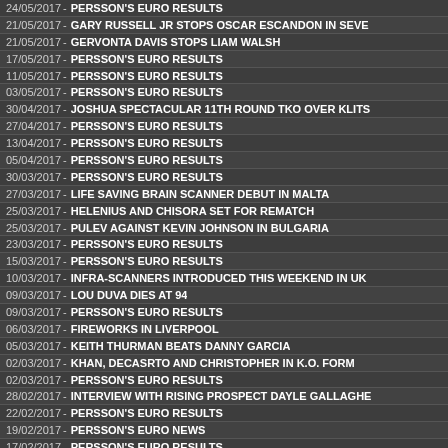24/05/2017 - PERSSON'S EURO RESULTS
21/05/2017 - GARY RUSSELL JR STOPS OSCAR ESCANDON IN SEVE
21/05/2017 - GERVONTA DAVIS STOPS LIAM WALSH
17/05/2017 - PERSSON'S EURO RESULTS
11/05/2017 - PERSSON'S EURO RESULTS
03/05/2017 - PERSSON'S EURO RESULTS
30/04/2017 - JOSHUA SPECTACULAR 11TH ROUND TKO OVER KLITS
27/04/2017 - PERSSON'S EURO RESULTS
13/04/2017 - PERSSON'S EURO RESULTS
05/04/2017 - PERSSON'S EURO RESULTS
30/03/2017 - PERSSON'S EURO RESULTS
27/03/2017 - LIFE SAVING BRAIN SCANNER DEBUT IN MALTA
25/03/2017 - HELENIUS AND CHISORA SET FOR REMATCH
25/03/2017 - PULEV AGAINST KEVIN JOHNSON IN BULGARIA
23/03/2017 - PERSSON'S EURO RESULTS
15/03/2017 - PERSSON'S EURO RESULTS
10/03/2017 - INFRA-SCANNERS INTRODUCED THIS WEEKEND IN UK
09/03/2017 - LOU DUVA DIES AT 94
09/03/2017 - PERSSON'S EURO RESULTS
06/03/2017 - FIREWORKS IN LIVERPOOL
05/03/2017 - KEITH THURMAN BEATS DANNY GARCIA
02/03/2017 - KHAN, DECASRTO AND CHRISTOPHER IN K.O. FORM
02/03/2017 - PERSSON'S EURO RESULTS
28/02/2017 - INTERVIEW WITH RISING PROSPECT DAYLE GALLAGHE
22/02/2017 - PERSSON'S EURO RESULTS
19/02/2017 - PERSSON'S EURO NEWS
17/02/2017 - PERSSON'S EURO RESULTS